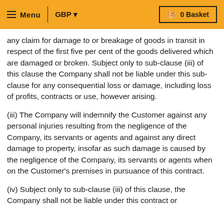Menu | GBP | 0 Basket
any claim for damage to or breakage of goods in transit in respect of the first five per cent of the goods delivered which are damaged or broken. Subject only to sub-clause (iii) of this clause the Company shall not be liable under this sub-clause for any consequential loss or damage, including loss of profits, contracts or use, however arising.
(iii) The Company will indemnify the Customer against any personal injuries resulting from the negligence of the Company, its servants or agents and against any direct damage to property, insofar as such damage is caused by the negligence of the Company, its servants or agents when on the Customer's premises in pursuance of this contract.
(iv) Subject only to sub-clause (iii) of this clause, the Company shall not be liable under this contract or